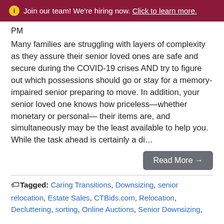ℹ Join our team! We're hiring now. Click to learn more.
PM
Many families are struggling with layers of complexity as they assure their senior loved ones are safe and secure during the COVID-19 crises AND try to figure out which possessions should go or stay for a memory-impaired senior preparing to move. In addition, your senior loved one knows how priceless—whether monetary or personal— their items are, and simultaneously may be the least available to help you. While the task ahead is certainly a di…
Read More →
Tagged: Caring Transitions, Downsizing, senior relocation, Estate Sales, CTBids.com, Relocation, Decluttering, sorting, Online Auctions, Senior Downsizing,